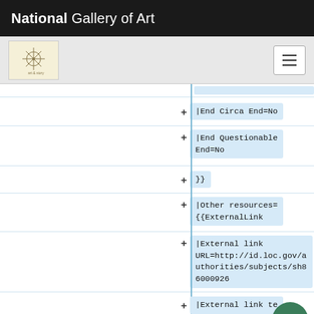National Gallery of Art
[Figure (screenshot): Navigation bar with NGA logo and hamburger menu button]
|End Circa End=No
|End Questionable End=No
}}
|Other resources= {{ExternalLink
|External link URL=http://id.loc.gov/authorities/subjects/sh86000926
|External link te
}}{{ExternalLink